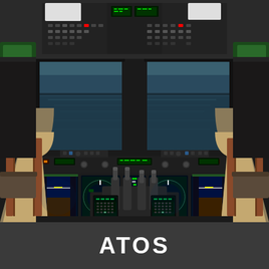[Figure (photo): Interior view of a commercial aircraft cockpit/flight simulator showing instrument panels, overhead controls, navigation displays (PFD, ND, EICAS), two pilot seats in foreground, and a simulated ocean and sky view through the windshield. Green panels visible on sides of overhead console.]
ATOS